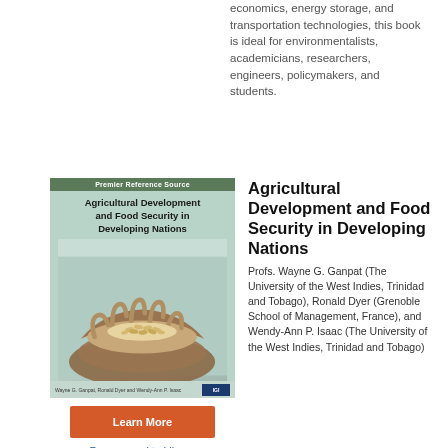economics, energy storage, and transportation technologies, this book is ideal for environmentalists, academicians, researchers, engineers, policymakers, and students.
[Figure (illustration): Book cover of 'Agricultural Development and Food Security in Developing Nations' with a green header band reading 'Premier Reference Source', title text, and an image of hands holding grain. Publisher logo (IGI) at bottom right.]
Learn More
Recommend to Library
Agricultural Development and Food Security in Developing Nations
Profs. Wayne G. Ganpat (The University of the West Indies, Trinidad and Tobago), Ronald Dyer (Grenoble School of Management, France), and Wendy-Ann P. Isaac (The University of the West Indies, Trinidad and Tobago)